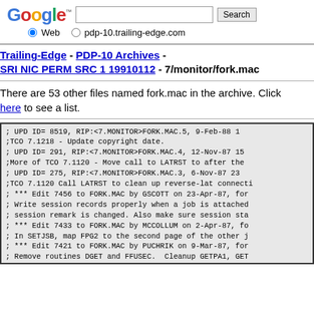[Figure (screenshot): Google search bar with logo, search input field, Search button, and radio buttons for Web and pdp-10.trailing-edge.com]
Trailing-Edge - PDP-10 Archives - SRI NIC PERM SRC 1 19910112 - 7/monitor/fork.mac
There are 53 other files named fork.mac in the archive. Click here to see a list.
; UPD ID= 8519, RIP:<7.MONITOR>FORK.MAC.5,    9-Feb-88 1
;TCO 7.1218 - Update copyright date.
; UPD ID= 291, RIP:<7.MONITOR>FORK.MAC.4,   12-Nov-87 15
;More of TCO 7.1120 - Move call to LATRST to after the
; UPD ID= 275, RIP:<7.MONITOR>FORK.MAC.3,    6-Nov-87 23
;TCO 7.1120 Call LATRST to clean up reverse-lat connecti
; *** Edit 7456 to FORK.MAC by GSCOTT on 23-Apr-87, for
; Write session records properly when a job is attached
; session remark is changed. Also make sure session sta
; *** Edit 7433 to FORK.MAC by MCCOLLUM on 2-Apr-87, fo
; In SETJSB, map FPG2 to the second page of the other j
; *** Edit 7421 to FORK.MAC by PUCHRIK on 9-Mar-87, for
; Remove routines DGET and FFUSEC.  Cleanup GETPA1, GET
; Fix situation where DSK: defined to be a program and
; loaded instead of XRMS.EXE.